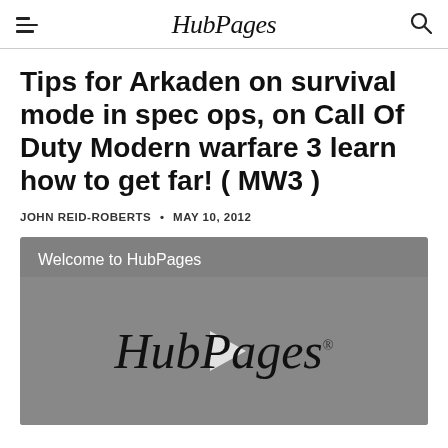HubPages
Tips for Arkaden on survival mode in spec ops, on Call Of Duty Modern warfare 3 learn how to get far! ( MW3 )
JOHN REID-ROBERTS • MAY 10, 2012
[Figure (screenshot): Video player thumbnail showing 'Welcome to HubPages' text with HubPages logo and play button on a grey background]